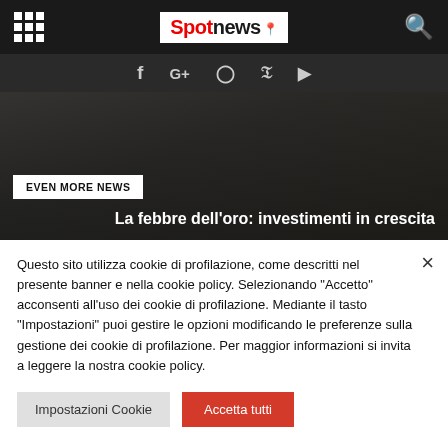SpoTnews
[Figure (screenshot): Social media icons bar: f (Facebook), G+, Instagram, Twitter, YouTube on dark background]
[Figure (photo): Dark hero background image with city building]
EVEN MORE NEWS
La febbre dell'oro: investimenti in crescita
Questo sito utilizza cookie di profilazione, come descritti nel presente banner e nella cookie policy. Selezionando "Accetto" acconsenti all'uso dei cookie di profilazione. Mediante il tasto "Impostazioni" puoi gestire le opzioni modificando le preferenze sulla gestione dei cookie di profilazione. Per maggior informazioni si invita a leggere la nostra cookie policy.
Impostazioni Cookie | Accetta tutti